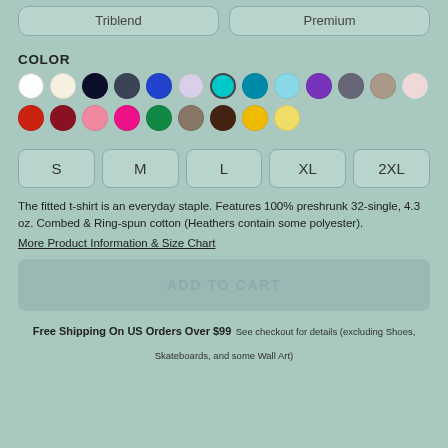[Figure (other): Two product type buttons at top: Triblend and Premium]
COLOR
[Figure (other): Color swatches: white, cream, navy, dark gray, blue, light lavender, cyan (selected), teal, light blue, purple, dark gray, taupe, light pink in first row; red, dark red, pink, hot pink, green, olive/gray, dark brown, yellow, light yellow in second row]
[Figure (other): Size selection buttons: S, M, L, XL, 2XL]
The fitted t-shirt is an everyday staple. Features 100% preshrunk 32-single, 4.3 oz. Combed & Ring-spun cotton (Heathers contain some polyester).
More Product Information & Size Chart
ADD TO CART
Free Shipping On US Orders Over $99 See checkout for details (excluding Shoes, Skateboards, and some Wall Art)